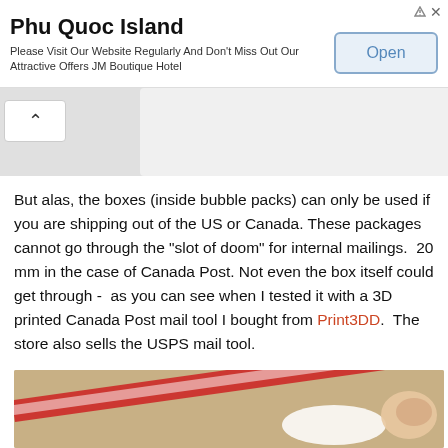[Figure (screenshot): Advertisement banner for Phu Quoc Island, JM Boutique Hotel with Open button]
[Figure (photo): Partially visible image showing a product, cropped at top with back navigation button]
But alas, the boxes (inside bubble packs) can only be used if you are shipping out of the US or Canada. These packages cannot go through the "slot of doom" for internal mailings.  20 mm in the case of Canada Post. Not even the box itself could get through -  as you can see when I tested it with a 3D printed Canada Post mail tool I bought from Print3DD.  The store also sells the USPS mail tool.
[Figure (photo): Partial photo showing a cardboard package being tested with a red mail slot tool, finger visible pressing on package]